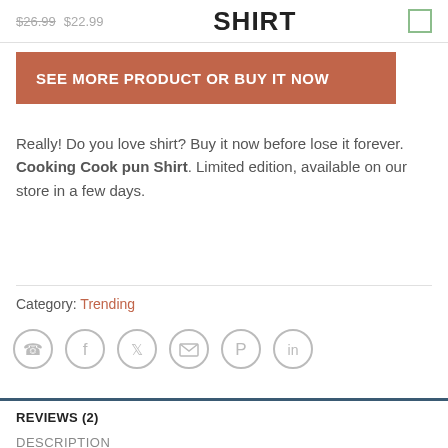$26.99  $22.99  SHIRT
SEE MORE PRODUCT OR BUY IT NOW
Really! Do you love shirt? Buy it now before lose it forever. Cooking Cook pun Shirt. Limited edition, available on our store in a few days.
Category: Trending
[Figure (infographic): Row of six social sharing icons (WhatsApp, Facebook, Twitter, Email, Pinterest, LinkedIn) as gray circle outlines]
REVIEWS (2)
DESCRIPTION